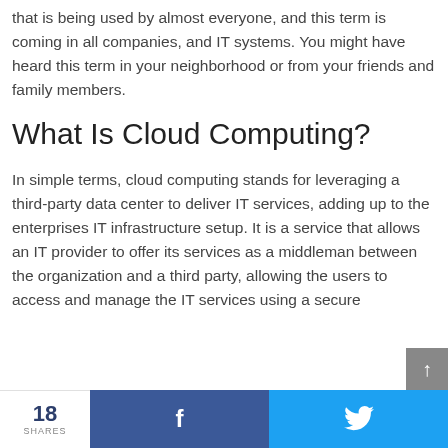that is being used by almost everyone, and this term is coming in all companies, and IT systems. You might have heard this term in your neighborhood or from your friends and family members.
What Is Cloud Computing?
In simple terms, cloud computing stands for leveraging a third-party data center to deliver IT services, adding up to the enterprises IT infrastructure setup. It is a service that allows an IT provider to offer its services as a middleman between the organization and a third party, allowing the users to access and manage the IT services using a secure
18 SHARES